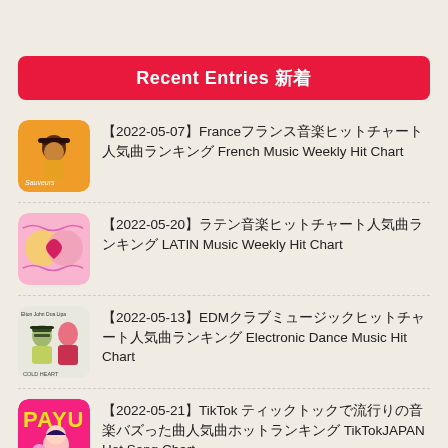Recent Entries 新着
【2022-05-07】Franceフランス音楽ヒットチャート人気曲ランキング French Music Weekly Hit Chart
【2022-05-20】ラテン音楽ヒットチャート人気曲ランキング LATIN Music Weekly Hit Chart
【2022-05-13】EDMクラブミュージックヒットチャート人気曲ランキング Electronic Dance Music Hit Chart
【2022-05-21】TikTok ティックトックで流行りの音楽バズった曲人気曲ホットランキング TikTokJAPAN Hot Song Chart